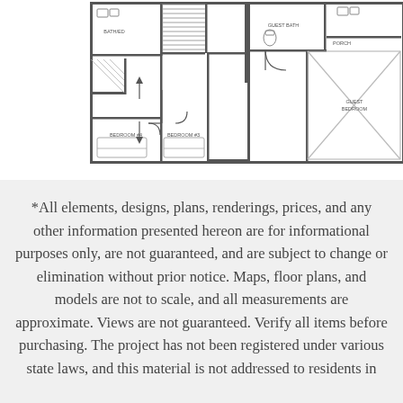[Figure (engineering-diagram): Partial floor plan showing upper floor layout with rooms labeled: BATH/ED, BEDROOM #4, BEDROOM #3, GUEST BEDROOM, GUEST BATH, PORCH. Various walls, doors, closets, and architectural features shown in standard floor plan notation.]
*All elements, designs, plans, renderings, prices, and any other information presented hereon are for informational purposes only, are not guaranteed, and are subject to change or elimination without prior notice. Maps, floor plans, and models are not to scale, and all measurements are approximate. Views are not guaranteed. Verify all items before purchasing. The project has not been registered under various state laws, and this material is not addressed to residents in